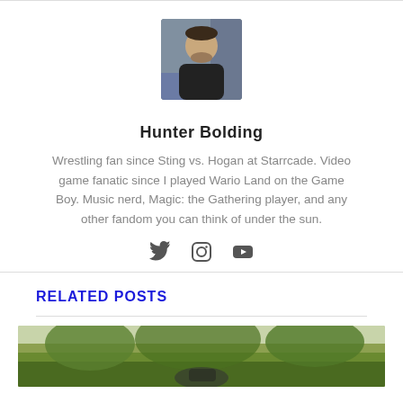[Figure (photo): Headshot photo of Hunter Bolding, a young man smiling, wearing a black t-shirt, bookshelves in background]
Hunter Bolding
Wrestling fan since Sting vs. Hogan at Starrcade. Video game fanatic since I played Wario Land on the Game Boy. Music nerd, Magic: the Gathering player, and any other fandom you can think of under the sun.
[Figure (illustration): Social media icons: Twitter bird, Instagram camera, YouTube play button]
RELATED POSTS
[Figure (photo): Partial photo of someone on a horse outdoors with trees in background]